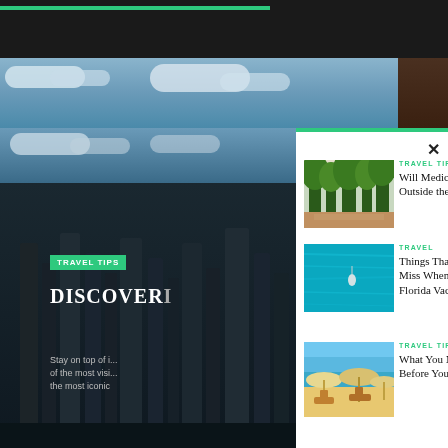[Figure (screenshot): Left side: travel website background with stone pillars and cloudy sky. Right side: modal overlay showing related travel articles with thumbnails.]
TRAVEL TIPS
DISCOVER
Stay on top of i... of the most visi... the most iconic
TRAVEL TIPS
Will Medicare Cover Me Outside the U.S.?
TRAVEL
Things That You Shouldn't Miss When on Your Destin Florida Vacation
TRAVEL TIPS
What You Need To Know Before Your Trip to Indonesia